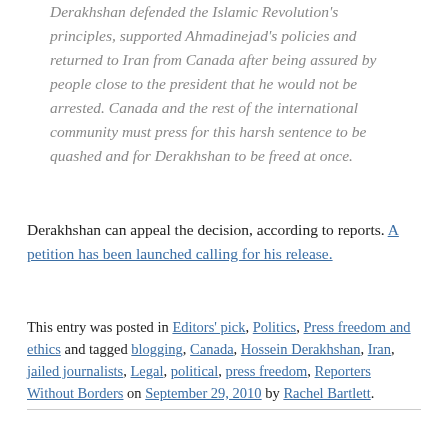Derakhshan defended the Islamic Revolution's principles, supported Ahmadinejad's policies and returned to Iran from Canada after being assured by people close to the president that he would not be arrested. Canada and the rest of the international community must press for this harsh sentence to be quashed and for Derakhshan to be freed at once.
Derakhshan can appeal the decision, according to reports. A petition has been launched calling for his release.
This entry was posted in Editors' pick, Politics, Press freedom and ethics and tagged blogging, Canada, Hossein Derakhshan, Iran, jailed journalists, Legal, political, press freedom, Reporters Without Borders on September 29, 2010 by Rachel Bartlett.